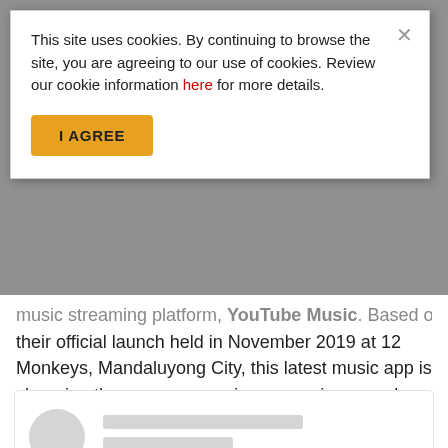This site uses cookies. By continuing to browse the site, you are agreeing to our use of cookies. Review our cookie information here for more details.
I AGREE
music streaming platform, YouTube Music. Based on their official launch held in November 2019 at 12 Monkeys, Mandaluyong City, this latest music app is changing the way we perceive convenience and entertainment during our sound trip sessions.
[Figure (screenshot): Social media embed card with circular profile picture placeholder and two gray loading placeholder lines for name and handle]